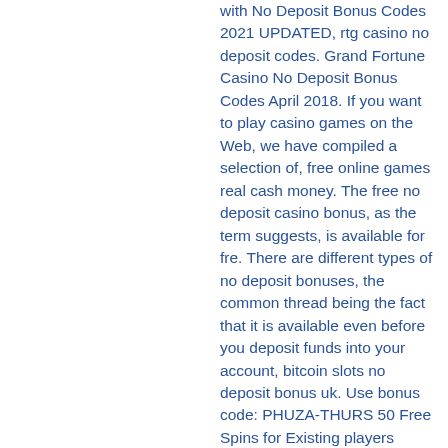with No Deposit Bonus Codes 2021 UPDATED, rtg casino no deposit codes. Grand Fortune Casino No Deposit Bonus Codes April 2018. If you want to play casino games on the Web, we have compiled a selection of, free online games real cash money. The free no deposit casino bonus, as the term suggests, is available for fre. There are different types of no deposit bonuses, the common thread being the fact that it is available even before you deposit funds into your account, bitcoin slots no deposit bonus uk. Use bonus code: PHUZA-THURS 50 Free Spins for Existing players Playthrough: 60xB Valid for: Bubble Bubble Slot Expires on 2021-10-28, free real deal slots. Thunderbolt Casino 15 50 + R800 FC Free Spins Bonus. Cherry Gold Casino No Deposit Bonus $50 Coupon Codes May 2021. May 15, 2021 Cherry Gold Casino Bonus